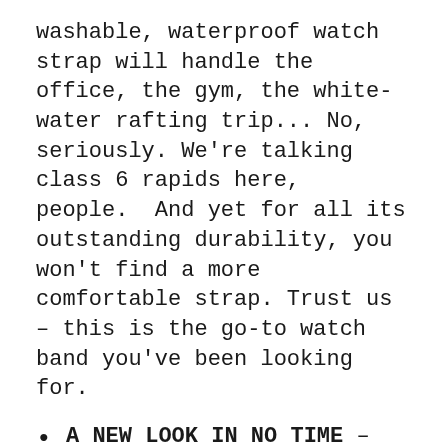washable, waterproof watch strap will handle the office, the gym, the white-water rafting trip... No, seriously. We're talking class 6 rapids here, people. And yet for all its outstanding durability, you won't find a more comfortable strap. Trust us – this is the go-to watch band you've been looking for.
A NEW LOOK IN NO TIME – Time to brandish that band! To attach it, just pop out your original watch spring bars, then slide the built-in quick release lever on our silicone strap to pop it in. Once you go quick release, there are no tools or engineering degree required. Like your